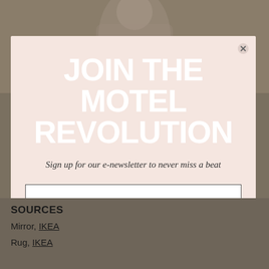[Figure (photo): Background photo of a person in beige/neutral tones, partially obscured by modal overlay]
JOIN THE MOTEL REVOLUTION
Sign up for our e-newsletter to never miss a beat
SOURCES
Mirror, IKEA
Rug, IKEA